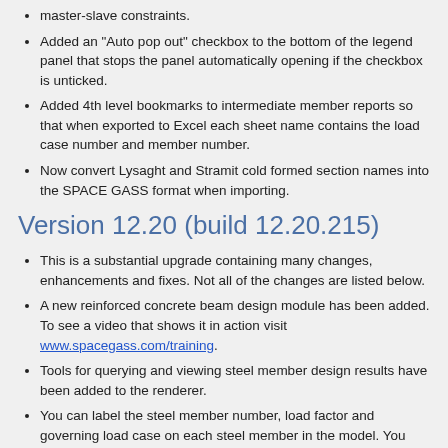master-slave constraints.
Added an "Auto pop out" checkbox to the bottom of the legend panel that stops the panel automatically opening if the checkbox is unticked.
Added 4th level bookmarks to intermediate member reports so that when exported to Excel each sheet name contains the load case number and member number.
Now convert Lysaght and Stramit cold formed section names into the SPACE GASS format when importing.
Version 12.20 (build 12.20.215)
This is a substantial upgrade containing many changes, enhancements and fixes. Not all of the changes are listed below.
A new reinforced concrete beam design module has been added. To see a video that shows it in action visit www.spacegass.com/training.
Tools for querying and viewing steel member design results have been added to the renderer.
You can label the steel member number, load factor and governing load case on each steel member in the model. You can also hover over a steel member to have its steel input...